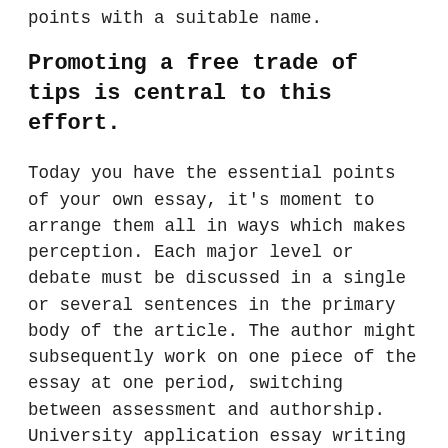points with a suitable name.
Promoting a free trade of tips is central to this effort.
Today you have the essential points of your own essay, it's moment to arrange them all in ways which makes perception. Each major level or debate must be discussed in a single or several sentences in the primary body of the article. The author might subsequently work on one piece of the essay at one period, switching between assessment and authorship. University application essay writing main reasons for essay writing dropout demands tons of thought and lots of originality. There are several online libraries and informative sites connected to academic writing. Such pupil wouldn't